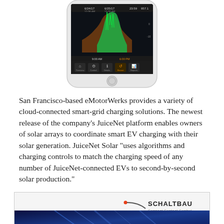[Figure (screenshot): Smartphone screenshot showing the JuiceNet app with a graph of solar energy data. The graph has a dark background with green and orange/brown colored area chart showing energy data for 6/24/17 and 6/25/17. Bottom navigation bar with icons for Overview, Control, Details, Recent, Reports.]
San Francisco-based eMotorWerks provides a variety of cloud-connected smart-grid charging solutions. The newest release of the company's JuiceNet platform enables owners of solar arrays to coordinate smart EV charging with their solar generation. JuiceNet Solar “uses algorithms and charging controls to match the charging speed of any number of JuiceNet-connected EVs to second-by-second solar production.”
[Figure (logo): Schaltbau logo with orange dot, curved line graphic, company name SCHALTBAU and tagline Connect Contact Control. Below is a dark blue banner image with diagonal light streaks.]